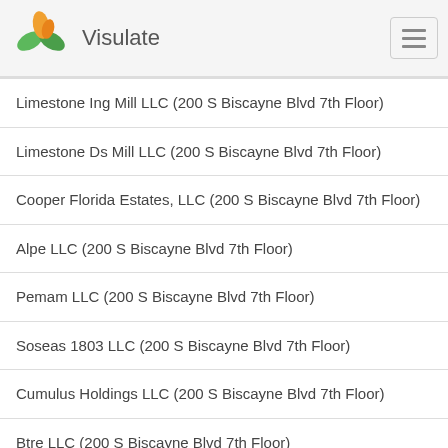Visulate
Limestone Ing Mill LLC (200 S Biscayne Blvd 7th Floor)
Limestone Ds Mill LLC (200 S Biscayne Blvd 7th Floor)
Cooper Florida Estates, LLC (200 S Biscayne Blvd 7th Floor)
Alpe LLC (200 S Biscayne Blvd 7th Floor)
Pemam LLC (200 S Biscayne Blvd 7th Floor)
Soseas 1803 LLC (200 S Biscayne Blvd 7th Floor)
Cumulus Holdings LLC (200 S Biscayne Blvd 7th Floor)
Btre LLC (200 S Biscayne Blvd 7th Floor)
Limestone Wgsl LLC (200 S Biscayne Blvd 7th Floor)
Limestone Wgfl LLC (200 S Biscayne Blvd 7th Floor)